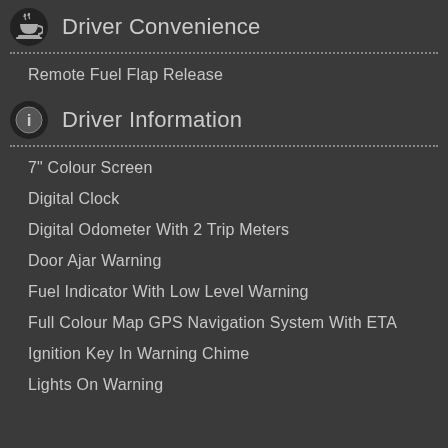Driver Convenience
Remote Fuel Flap Release
Driver Information
7" Colour Screen
Digital Clock
Digital Odometer With 2 Trip Meters
Door Ajar Warning
Fuel Indicator With Low Level Warning
Full Colour Map GPS Navigation System With ETA
Ignition Key In Warning Chime
Lights On Warning